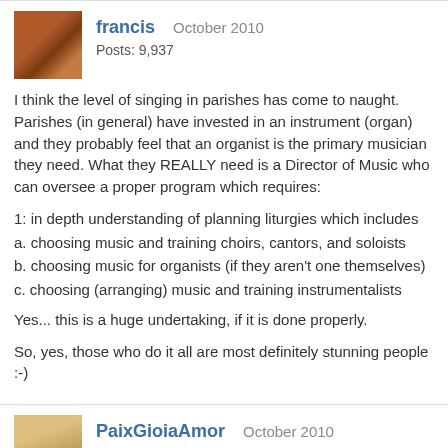francis  October 2010  Posts: 9,937
I think the level of singing in parishes has come to naught. Parishes (in general) have invested in an instrument (organ) and they probably feel that an organist is the primary musician they need. What they REALLY need is a Director of Music who can oversee a proper program which requires:
1: in depth understanding of planning liturgies which includes
a. choosing music and training choirs, cantors, and soloists
b. choosing music for organists (if they aren't one themselves)
c. choosing (arranging) music and training instrumentalists
Yes... this is a huge undertaking, if it is done properly.
So, yes, those who do it all are most definitely stunning people :-)
PaixGioiaAmor  October 2010  Posts: 1,473
Not disagreeing necessarily with anything anyone has said so far, but in the case that was being discussed it seems that the incumbant DID work in this situation and had great success.